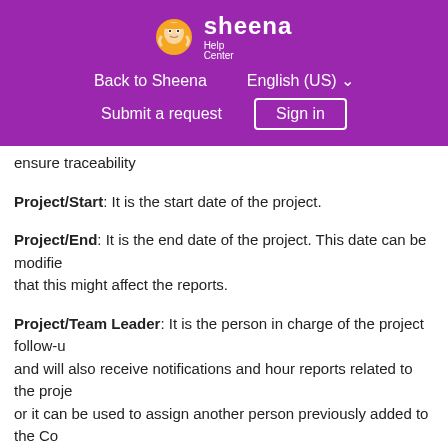sheena Help Center — Back to Sheena | English (US) | Submit a request | Sign in
ensure traceability
Project/Start: It is the start date of the project.
Project/End: It is the end date of the project. This date can be modified that this might affect the reports.
Project/Team Leader: It is the person in charge of the project follow-u and will also receive notifications and hour reports related to the proje or it can be used to assign another person previously added to the Co
Project/Customer: This field is useful if there is one client with more th allows us to have reports by client.